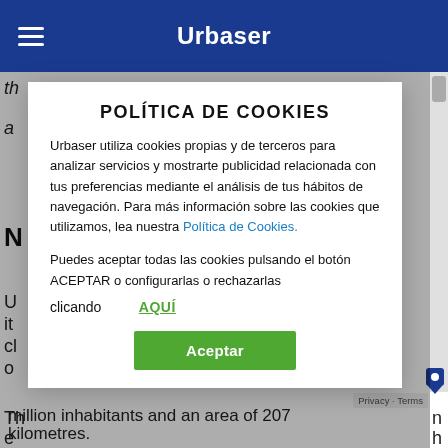Urbaser
[Figure (screenshot): Cookie policy modal dialog overlaying the Urbaser website. Modal contains title 'POLÍTICA DE COOKIES', body text about cookie usage, a link 'Política de Cookies.', additional text about accepting or configuring cookies, an 'AQUÍ' link, and an 'Aceptar' (Accept) green button.]
POLÍTICA DE COOKIES
Urbaser utiliza cookies propias y de terceros para analizar servicios y mostrarte publicidad relacionada con tus preferencias mediante el análisis de tus hábitos de navegación. Para más información sobre las cookies que utilizamos, lea nuestra Política de Cookies.
Puedes aceptar todas las cookies pulsando el botón ACEPTAR o configurarlas o rechazarlas
clicando    AQUÍ
million inhabitants and an area of 207 kilometres.